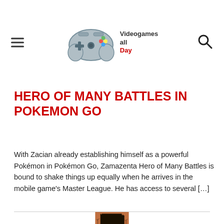Videogames all Day
HERO OF MANY BATTLES IN POKEMON GO
With Zacian already establishing himself as a powerful Pokémon in Pokémon Go, Zamazenta Hero of Many Battles is bound to shake things up equally when he arrives in the mobile game's Master League. He has access to several […]
[Figure (illustration): Illustration of a ruined dark gothic castle with bare trees against an orange-brown textured background]